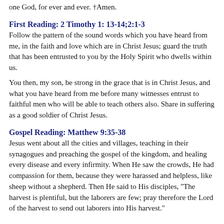one God, for ever and ever. †Amen.
First Reading: 2 Timothy 1: 13-14;2:1-3
Follow the pattern of the sound words which you have heard from me, in the faith and love which are in Christ Jesus; guard the truth that has been entrusted to you by the Holy Spirit who dwells within us.
You then, my son, be strong in the grace that is in Christ Jesus, and what you have heard from me before many witnesses entrust to faithful men who will be able to teach others also. Share in suffering as a good soldier of Christ Jesus.
Gospel Reading: Matthew 9:35-38
Jesus went about all the cities and villages, teaching in their synagogues and preaching the gospel of the kingdom, and healing every disease and every infirmity. When He saw the crowds, He had compassion for them, because they were harassed and helpless, like sheep without a shepherd. Then He said to His disciples, "The harvest is plentiful, but the laborers are few; pray therefore the Lord of the harvest to send out laborers into His harvest."